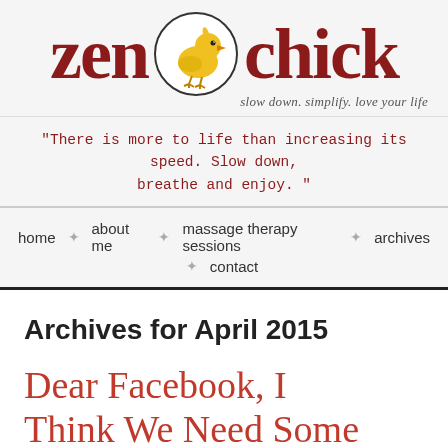[Figure (logo): Zen Chick blog logo with yellow bird in circle between 'zen' and 'chick' text in dark red, tagline 'slow down. simplify. love your life']
"There is more to life than increasing its speed. Slow down, breathe and enjoy. "
home ✦ about me ✦ massage therapy sessions ✦ archives ✦ contact
Archives for April 2015
Dear Facebook, I Think We Need Some